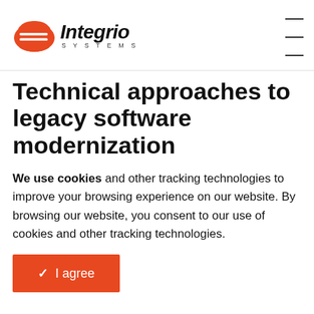Integrio SYSTEMS
Technical approaches to legacy software modernization
We use cookies and other tracking technologies to improve your browsing experience on our website. By browsing our website, you consent to our use of cookies and other tracking technologies.
✓ I agree